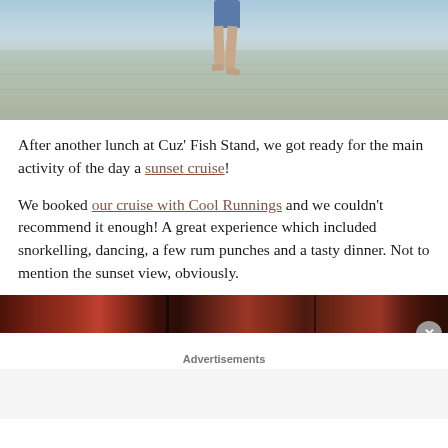[Figure (photo): Partial photo of a person walking on a sandy beach/shallow water, cropped at waist, wearing blue shorts. Sandy beach with shallow water reflections visible.]
After another lunch at Cuz' Fish Stand, we got ready for the main activity of the day a sunset cruise!
We booked our cruise with Cool Runnings and we couldn't recommend it enough! A great experience which included snorkelling, dancing, a few rum punches and a tasty dinner. Not to mention the sunset view, obviously.
[Figure (photo): Bottom edge of a sunset photo showing dark red and brown tones with boat mast silhouettes against a dramatic sunset sky.]
Advertisements